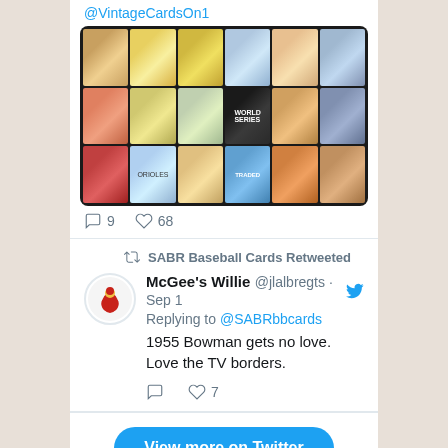@VintageCardsOn1
[Figure (photo): Collage of vintage baseball cards in a 3x6 grid on dark background, showing players from various teams including Frank Robinson and Orioles cards]
9   68
SABR Baseball Cards Retweeted
McGee's Willie @jlalbregts · Sep 1
Replying to @SABRbbcards
1955 Bowman gets no love.  Love the TV borders.
7
View more on Twitter